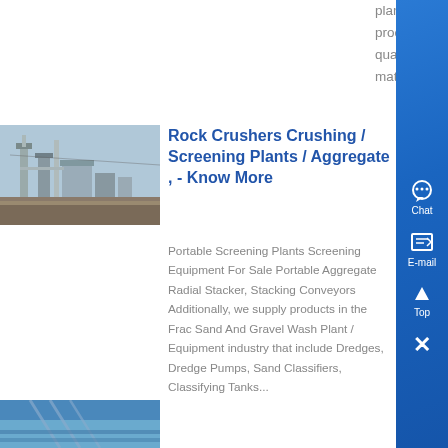plants for sale are capable of processing 30-400 tonnes/h of quarried sand and gravel feed materials to produce a variety of ,....
[Figure (photo): Industrial crushing/screening plant facility with structures and equipment against a blue sky]
Rock Crushers Crushing / Screening Plants / Aggregate , - Know More
Portable Screening Plants Screening Equipment For Sale Portable Aggregate Radial Stacker, Stacking Conveyors Additionally, we supply products in the Frac Sand And Gravel Wash Plant / Equipment industry that include Dredges, Dredge Pumps, Sand Classifiers, Classifying Tanks...
[Figure (photo): Partial view of industrial equipment or structure with blue tones]